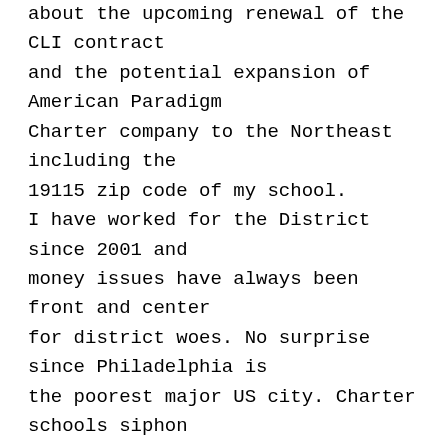about the upcoming renewal of the CLI contract and the potential expansion of American Paradigm Charter company to the Northeast including the 19115 zip code of my school. I have worked for the District since 2001 and money issues have always been front and center for district woes. No surprise since Philadelphia is the poorest major US city. Charter schools siphon money away from public schools thanks to one of the worst charter school laws in the country. Therefore, we must be especially prudent on how money is spent in this District. Charter schools are not a fiscally prudent solution to the overcrowding problem in the Northeast since charter schools continue to suck money out of the District. We must have a moratorium on charter